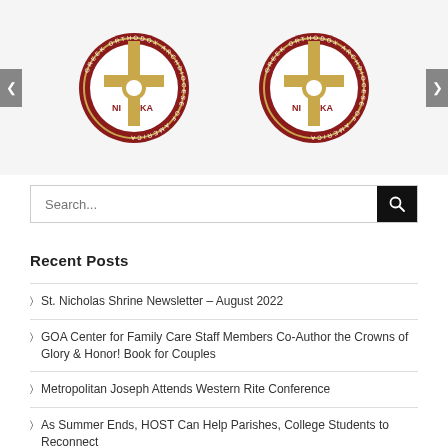[Figure (logo): Two Greek Orthodox Archdiocese of America logos with gold cross and NI KA text on dark red circular background, with carousel navigation arrows on left and right]
Search...
Recent Posts
St. Nicholas Shrine Newsletter – August 2022
GOA Center for Family Care Staff Members Co-Author the Crowns of Glory & Honor! Book for Couples
Metropolitan Joseph Attends Western Rite Conference
As Summer Ends, HOST Can Help Parishes, College Students to Reconnect